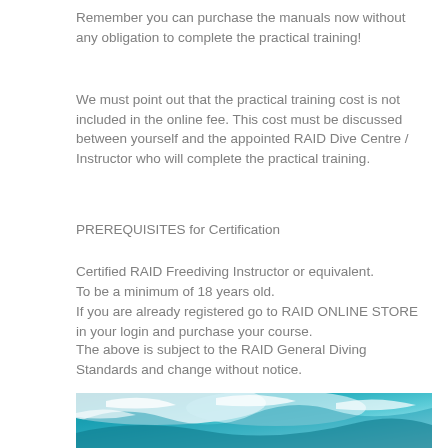Remember you can purchase the manuals now without any obligation to complete the practical training!
We must point out that the practical training cost is not included in the online fee. This cost must be discussed between yourself and the appointed RAID Dive Centre / Instructor who will complete the practical training.
PREREQUISITES for Certification
Certified RAID Freediving Instructor or equivalent.
To be a minimum of 18 years old.
If you are already registered go to RAID ONLINE STORE in your login and purchase your course.
The above is subject to the RAID General Diving Standards and change without notice.
[Figure (photo): Ocean wave photograph showing turquoise blue water with white foam crashing]